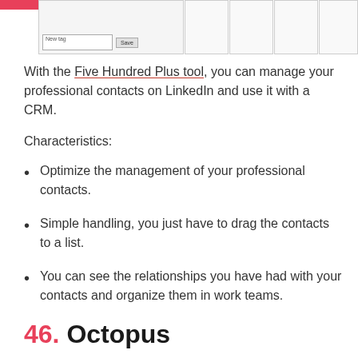[Figure (screenshot): Partial screenshot of a web interface showing a table/grid with a 'New tag' input field and a 'Save' button at the bottom left, with multiple empty column cells.]
With the Five Hundred Plus tool, you can manage your professional contacts on LinkedIn and use it with a CRM.
Characteristics:
Optimize the management of your professional contacts.
Simple handling, you just have to drag the contacts to a list.
You can see the relationships you have had with your contacts and organize them in work teams.
46. Octopus